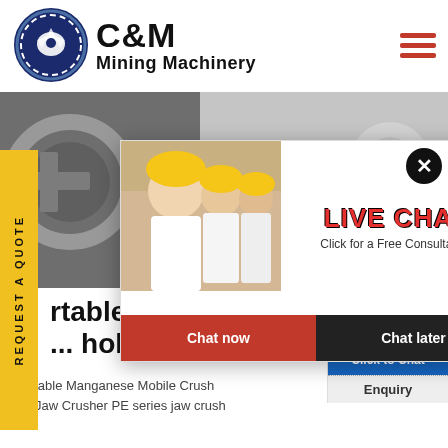[Figure (logo): C&M Mining Machinery logo with eagle/gear icon in navy blue circle, company name in bold black text]
[Figure (photo): Industrial mining machinery equipment, dark greyscale tones]
[Figure (screenshot): Live chat popup overlay with workers in hard hats, Chat now and Chat later buttons]
[Figure (photo): Customer service agent with headset on right side widget, Click to Chat button]
REQUEST A QUOTE
rtable manganese mo
... holy see sale
Portable Manganese Mobile Crush
PE Jaw Crusher PE series jaw crush